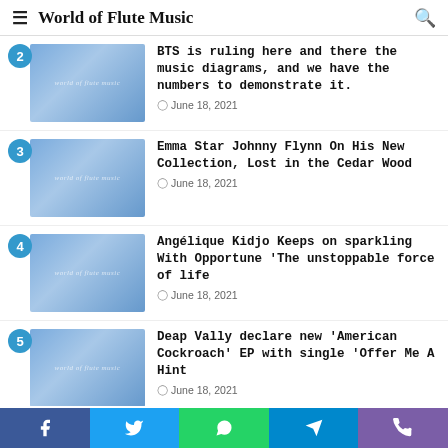World of Flute Music
BTS is ruling here and there the music diagrams, and we have the numbers to demonstrate it. — June 18, 2021
Emma Star Johnny Flynn On His New Collection, Lost in the Cedar Wood — June 18, 2021
Angélique Kidjo Keeps on sparkling With Opportune 'The unstoppable force of life — June 18, 2021
Deap Vally declare new 'American Cockroach' EP with single 'Offer Me A Hint — June 18, 2021